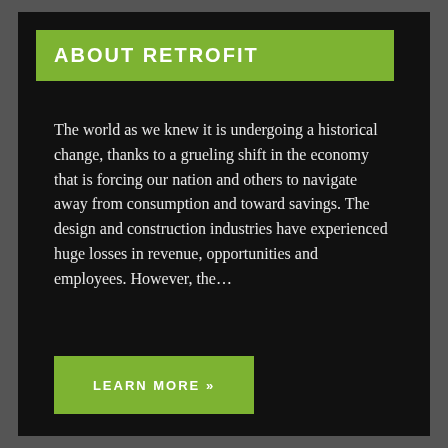ABOUT RETROFIT
The world as we knew it is undergoing a historical change, thanks to a grueling shift in the economy that is forcing our nation and others to navigate away from consumption and toward savings. The design and construction industries have experienced huge losses in revenue, opportunities and employees. However, the...
LEARN MORE »